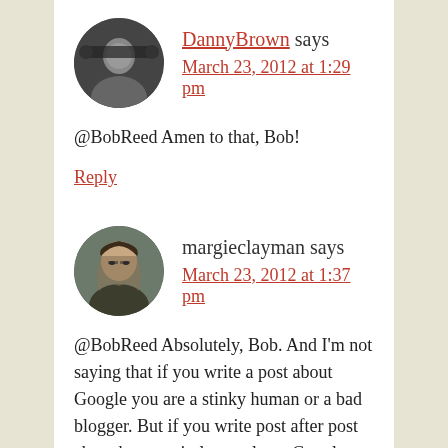[Figure (photo): Circular avatar photo of DannyBrown, a man wearing headphones]
DannyBrown says
March 23, 2012 at 1:29 pm
@BobReed Amen to that, Bob!
Reply
[Figure (photo): Circular avatar photo of margieclayman, a woman with long hair and glasses]
margieclayman says
March 23, 2012 at 1:37 pm
@BobReed Absolutely, Bob. And I'm not saying that if you write a post about Google you are a stinky human or a bad blogger. But if you write post after post about how to circle people on Google Plus, I'm going to start to wonder what else you have in your bucket. Or